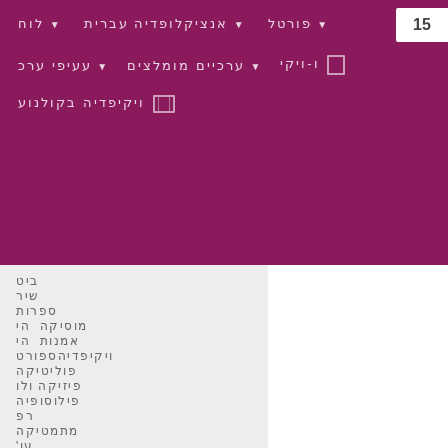[Figure (screenshot): Navigation bar with purple/maroon background containing menu items in non-Latin script (appears to be Hebrew or similar RTL script), with a number box showing '15' in top right corner, and multiple rows of navigation links with dropdown arrows and icons]
[sidebar navigation items in non-Latin script]
[sidebar link items in salmon/orange color in non-Latin script]